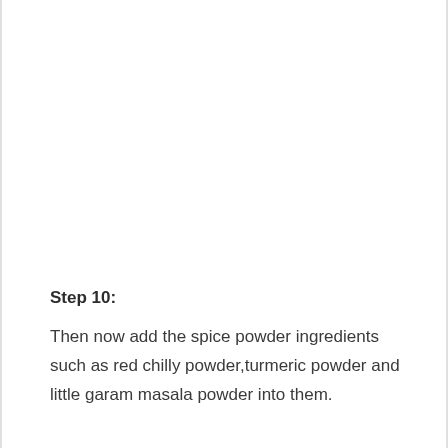Step 10:
Then now add the spice powder ingredients such as red chilly powder,turmeric powder and little garam masala powder into them.